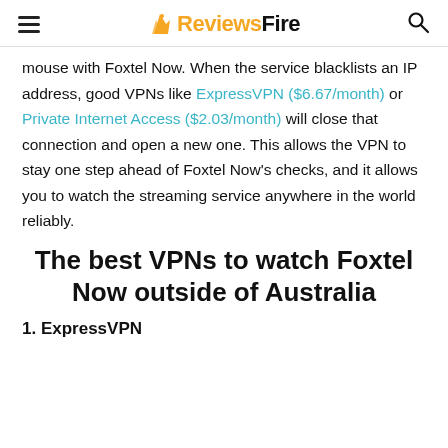ReviewsFire
mouse with Foxtel Now. When the service blacklists an IP address, good VPNs like ExpressVPN ($6.67/month) or Private Internet Access ($2.03/month) will close that connection and open a new one. This allows the VPN to stay one step ahead of Foxtel Now’s checks, and it allows you to watch the streaming service anywhere in the world reliably.
The best VPNs to watch Foxtel Now outside of Australia
1. ExpressVPN